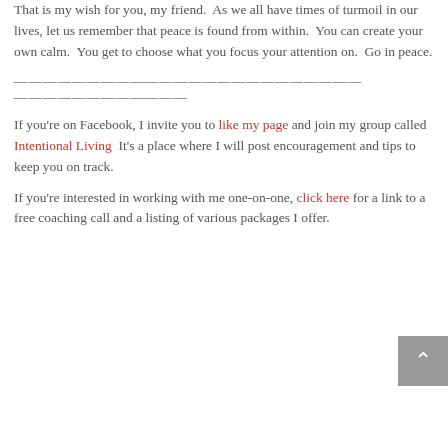That is my wish for you, my friend.  As we all have times of turmoil in our lives, let us remember that peace is found from within.  You can create your own calm.  You get to choose what you focus your attention on.  Go in peace.
——————————————————————————————————————
If you're on Facebook, I invite you to like my page and join my group called Intentional Living  It's a place where I will post encouragement and tips to keep you on track.
If you're interested in working with me one-on-one, click here for a link to a free coaching call and a listing of various packages I offer.